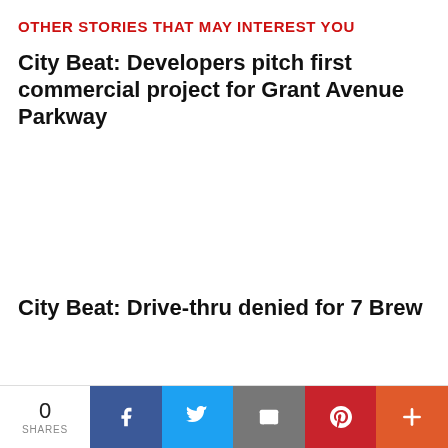OTHER STORIES THAT MAY INTEREST YOU
City Beat: Developers pitch first commercial project for Grant Avenue Parkway
City Beat: Drive-thru denied for 7 Brew
0 SHARES | Facebook | Twitter | Email | Pinterest | More